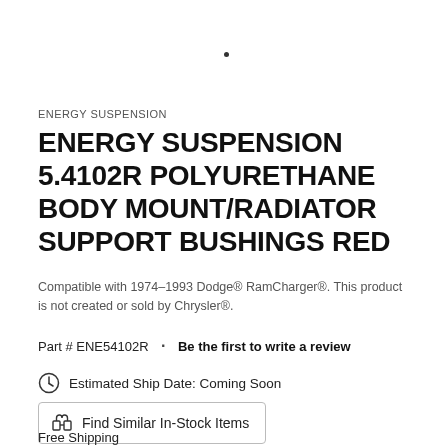ENERGY SUSPENSION
ENERGY SUSPENSION 5.4102R POLYURETHANE BODY MOUNT/RADIATOR SUPPORT BUSHINGS RED
Compatible with 1974-1993 Dodge® RamCharger®. This product is not created or sold by Chrysler®.
Part # ENE54102R  •  Be the first to write a review
Estimated Ship Date: Coming Soon
Find Similar In-Stock Items
Free Shipping